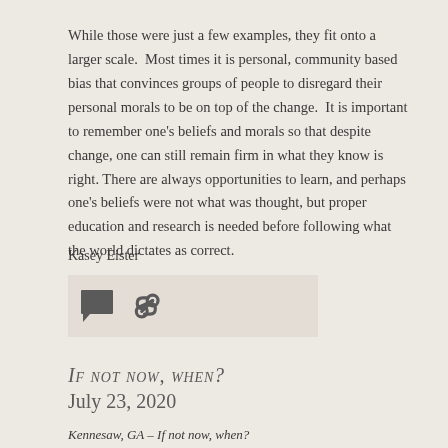While those were just a few examples, they fit onto a larger scale.  Most times it is personal, community based bias that convinces groups of people to disregard their personal morals to be on top of the change.  It is important to remember one's beliefs and morals so that despite change, one can still remain firm in what they know is right. There are always opportunities to learn, and perhaps one's beliefs were not what was thought, but proper education and research is needed before following what the world dictates as correct.
Kasey Eister
[Figure (other): Comment and link icons on a beige background box]
If not now, when?
July 23, 2020
Kennesaw, GA – If not now, when?